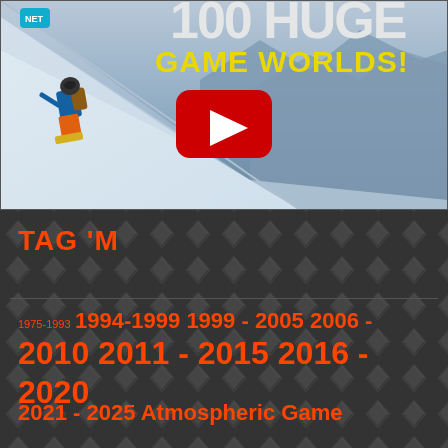[Figure (screenshot): YouTube video thumbnail showing a snowboarder on a steep snowy mountain slope with mountains in background. Large bold text at top partially visible reading '100 HUGE' and yellow text 'GAME WORLDS!' with a red YouTube play button in center.]
TAG 'M
1975-1993 1994-1999 1999 - 2005 2006 - 2010 2011 - 2015 2016 - 2020 2021 - 2025 Atmospheric Game